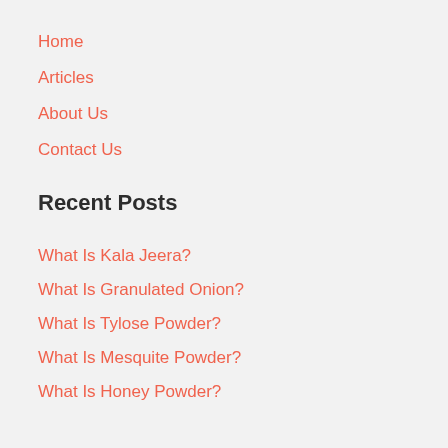Home
Articles
About Us
Contact Us
Recent Posts
What Is Kala Jeera?
What Is Granulated Onion?
What Is Tylose Powder?
What Is Mesquite Powder?
What Is Honey Powder?